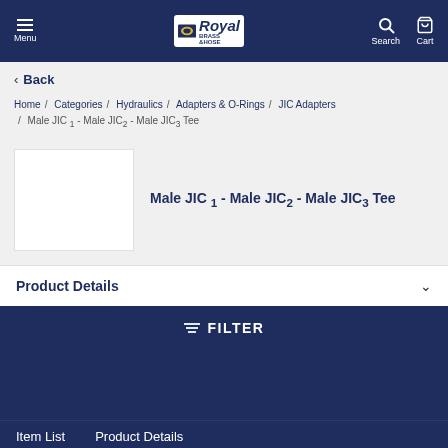Menu | Royal Brass & Hose | Search | Cart
< Back
Home / Categories / Hydraulics / Adapters & O-Rings / JIC Adapters / Male JIC 1 - Male JIC2 - Male JIC3 Tee
Male JIC 1 - Male JIC2 - Male JIC3 Tee
Product Details
FILTER
Item List    Product Details